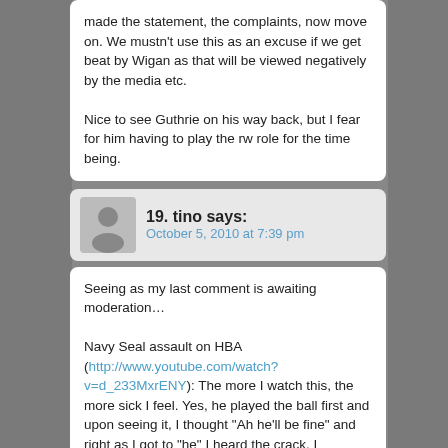made the statement, the complaints, now move on. We mustn't use this as an excuse if we get beat by Wigan as that will be viewed negatively by the media etc.

Nice to see Guthrie on his way back, but I fear for him having to play the rw role for the time being.
19. tino says:
October 5, 2010 at 7:39 pm
Seeing as my last comment is awaiting moderation…

Navy Seal assault on HBA (http://www.youtube.com/watch?v=d_233MxrENY): The more I watch this, the more sick I feel. Yes, he played the ball first and upon seeing it, I thought "Ah he'll be fine" and right as I got to "he" I heard the crack. I